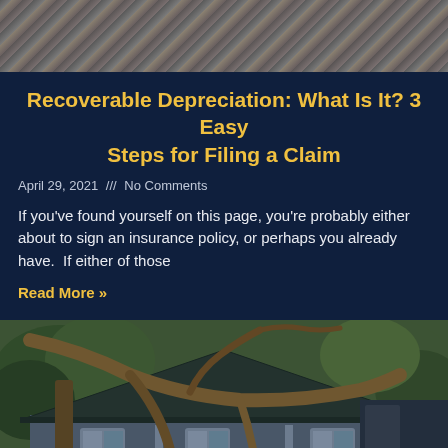[Figure (photo): Close-up of roofing shingles with a woven/diamond pattern texture, gray tones]
Recoverable Depreciation: What Is It? 3 Easy Steps for Filing a Claim
April 29, 2021 /// No Comments
If you've found yourself on this page, you're probably either about to sign an insurance policy, or perhaps you already have.  If either of those
Read More »
[Figure (photo): A fallen tree on top of a house with storm damage, green trees surrounding, blue-gray house siding visible]